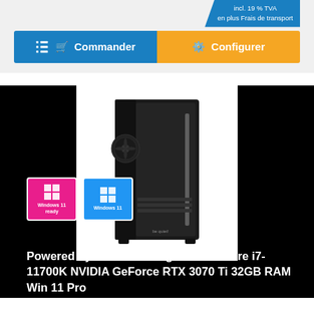incl. 19 % TVA
en plus Frais de transport
🛒 Commander
⚙ Configurer
[Figure (photo): Black gaming PC tower case with tempered glass side panel and front fan, shown on white background]
[Figure (logo): Windows 11 ready badge - pink/magenta background]
[Figure (logo): Windows 11 Home badge - blue background]
Powered by ASUS Gaming PC Intel Core i7-11700K NVIDIA GeForce RTX 3070 Ti 32GB RAM Win 11 Pro